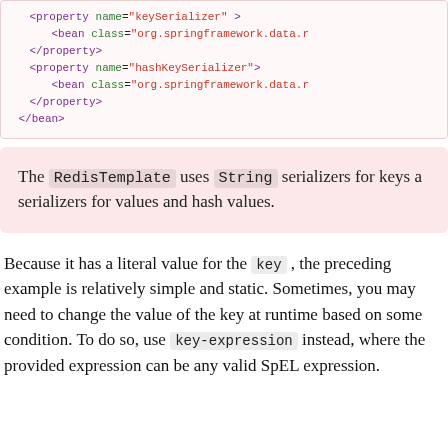<property name="keySerializer" >
    <bean class="org.springframework.data.r
</property>
<property name="hashKeySerializer">
    <bean class="org.springframework.data.r
</property>
</bean>
The RedisTemplate uses String serializers for keys and serializers for values and hash values.
Because it has a literal value for the key, the preceding example is relatively simple and static. Sometimes, you may need to change the value of the key at runtime based on some condition. To do so, use key-expression instead, where the provided expression can be any valid SpEL expression.